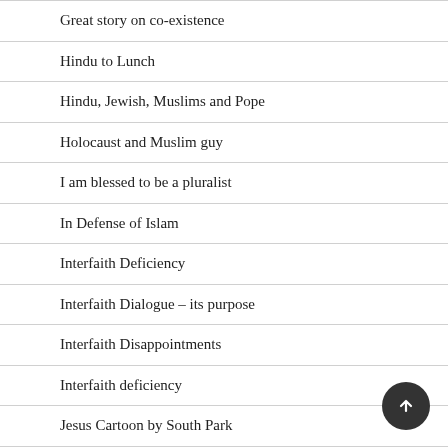Great story on co-existence
Hindu to Lunch
Hindu, Jewish, Muslims and Pope
Holocaust and Muslim guy
I am blessed to be a pluralist
In Defense of Islam
Interfaith Deficiency
Interfaith Dialogue – its purpose
Interfaith Disappointments
Interfaith deficiency
Jesus Cartoon by South Park
Jewish Muslim dialogue